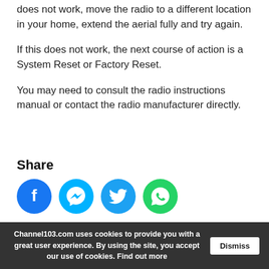does not work, move the radio to a different location in your home, extend the aerial fully and try again.
If this does not work, the next course of action is a System Reset or Factory Reset.
You may need to consult the radio instructions manual or contact the radio manufacturer directly.
Share
[Figure (infographic): Four social media share buttons: Facebook (blue circle with 'f' icon), Messenger (cyan circle with lightning bolt icon), Twitter (cyan circle with bird icon), WhatsApp (green circle with phone/chat icon)]
Channel103.com uses cookies to provide you with a great user experience. By using the site, you accept our use of cookies. Find out more   Dismiss